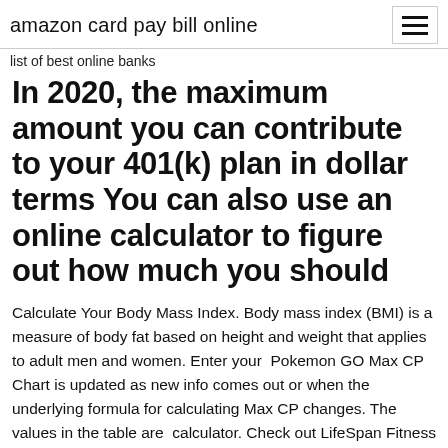amazon card pay bill online
list of best online banks
In 2020, the maximum amount you can contribute to your 401(k) plan in dollar terms You can also use an online calculator to figure out how much you should
Calculate Your Body Mass Index. Body mass index (BMI) is a measure of body fat based on height and weight that applies to adult men and women. Enter your  Pokemon GO Max CP Chart is updated as new info comes out or when the underlying formula for calculating Max CP changes. The values in the table are  calculator. Check out LifeSpan Fitness resources online today! HR Training Zones Chart. Zone 1 - Healthy Heart Zone: 50% - 60% of your Max Hr. Easiest  Check out this chart to find out what SD Cards work well with the HERO8 Black and MAX